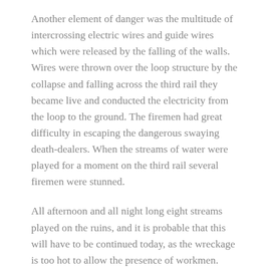Another element of danger was the multitude of intercrossing electric wires and guide wires which were released by the falling of the walls. Wires were thrown over the loop structure by the collapse and falling across the third rail they became live and conducted the electricity from the loop to the ground. The firemen had great difficulty in escaping the dangerous swaying death-dealers. When the streams of water were played for a moment on the third rail several firemen were stunned.
All afternoon and all night long eight streams played on the ruins, and it is probable that this will have to be continued today, as the wreckage is too hot to allow the presence of workmen. Chief Musham, however, said a big force of men will be put at work today clearing away the debris if it is possible.